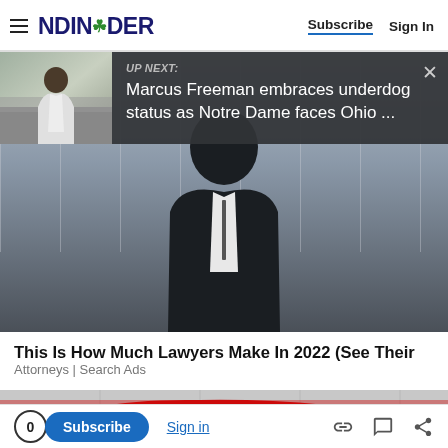NDINSiDER  Subscribe  Sign In
UP NEXT: Marcus Freeman embraces underdog status as Notre Dame faces Ohio ...
[Figure (photo): A man in a white outfit walking outdoors, blurred background — thumbnail for next article]
[Figure (photo): Main article photo — person in black and white outfit, blurred indoor background]
This Is How Much Lawyers Make In 2022 (See Their Salary).
Attorneys | Search Ads
[Figure (photo): Red sports car in a showroom, partial view]
0  Subscribe  Sign in